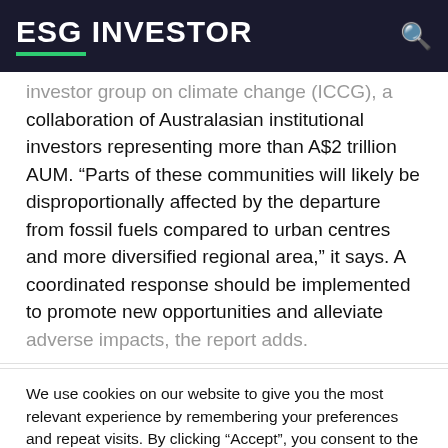ESG INVESTOR
investor group on climate change (ICCG), a collaboration of Australasian institutional investors representing more than A$2 trillion AUM. “Parts of these communities will likely be disproportionally affected by the departure from fossil fuels compared to urban centres and more diversified regional area,” it says. A coordinated response should be implemented to promote new opportunities and alleviate adverse impacts, the report adds.
We use cookies on our website to give you the most relevant experience by remembering your preferences and repeat visits. By clicking “Accept”, you consent to the use of ALL the cookies.
Cookie settings
ACCEPT